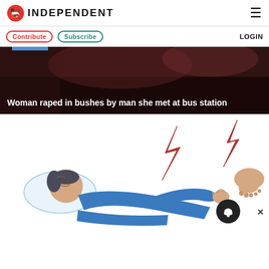INDEPENDENT
Contribute  Subscribe  LOGIN
[Figure (photo): Dark blurred background hero banner with white bold headline text: Woman raped in bushes by man she met at bus station]
Woman raped in bushes by man she met at bus station
[Figure (illustration): Illustration of a person lying down in blue clothing with lightning bolt pain indicators near their foot/ankle area. A notification bell icon and close (X) button overlay the lower right.]